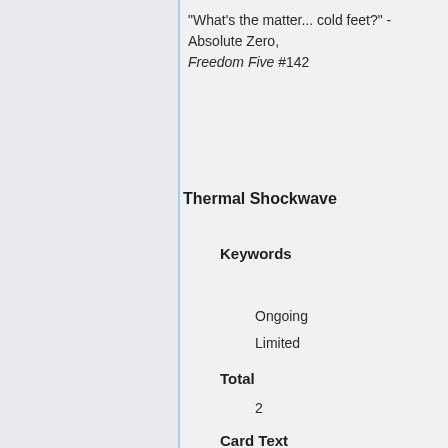"What's the matter... cold feet?" - Absolute Zero, Freedom Five #142
Thermal Shockwave
Keywords
Ongoing
Limited
Total
2
Card Text
Power
Absolute Zero deals up to 3 targets 1 cold damage each. Absolute Zero deals himself X fire damage, where X = the total amount of cold damage dealt by